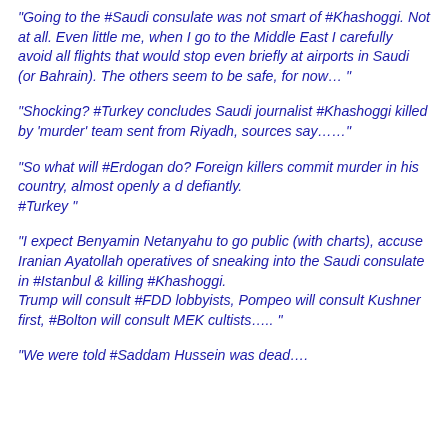"Going to the #Saudi consulate was not smart of #Khashoggi. Not at all. Even little me, when I go to the Middle East I carefully avoid all flights that would stop even briefly at airports in Saudi (or Bahrain). The others seem to be safe, for now… "
"Shocking? #Turkey concludes Saudi journalist #Khashoggi killed by 'murder' team sent from Riyadh, sources say……"
"So what will #Erdogan do? Foreign killers commit murder in his country, almost openly a d defiantly. #Turkey "
"I expect Benyamin Netanyahu to go public (with charts), accuse Iranian Ayatollah operatives of sneaking into the Saudi consulate in #Istanbul & killing #Khashoggi. Trump will consult #FDD lobbyists, Pompeo will consult Kushner first, #Bolton will consult MEK cultists….. "
"We were told #Saddam Hussein was dead….